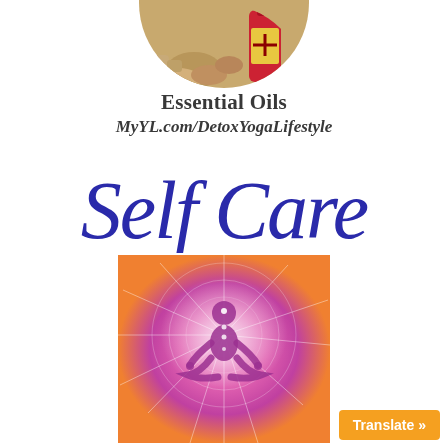[Figure (photo): Circular cropped image showing essential oils bottles and raw materials (spices/herbs) at the top of the page]
Essential Oils
MyYL.com/DetoxYogaLifestyle
Self Care
[Figure (illustration): A meditation/yoga figure in lotus position with radiant energy lines and chakra imagery in pink and purple tones]
Translate »